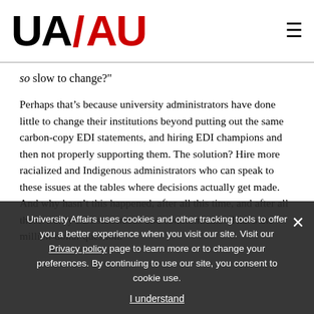UA/AU
so slow to change?"
Perhaps that’s because university administrators have done little to change their institutions beyond putting out the same carbon-copy EDI statements, and hiring EDI champions and then not properly supporting them. The solution? Hire more racialized and Indigenous administrators who can speak to these issues at the tables where decisions actually get made. And why hasn’t this happened, after all this time, and after all those wordy EDI statements and commitments? That’s the million-dollar question.
University Affairs uses cookies and other tracking tools to offer you a better experience when you visit our site. Visit our Privacy policy page to learn more or to change your preferences. By continuing to use our site, you consent to cookie use.